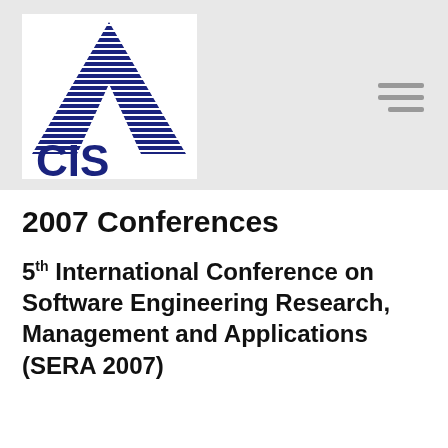[Figure (logo): ACIS logo — stylized letter A with horizontal lines, with 'CIS' text below in dark navy blue, on a white rectangular background]
2007 Conferences
5th International Conference on Software Engineering Research, Management and Applications (SERA 2007)